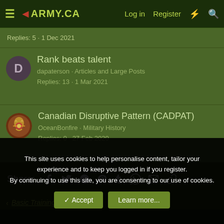ARMY.CA — Log in · Register
Replies: 5 · 1 Dec 2021
Rank beats talent
dapaterson · Articles and Large Posts
Replies: 13 · 1 Mar 2021
Canadian Disruptive Pattern (CADPAT)
OceanBonfire · Military History
Replies: 0 · 27 Feb 2020
Share:
< Basic Training
This site uses cookies to help personalise content, tailor your experience and to keep you logged in if you register.
By continuing to use this site, you are consenting to our use of cookies.